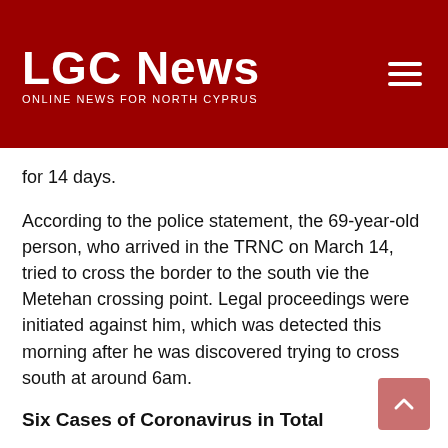LGC News — ONLINE NEWS FOR NORTH CYPRUS
for 14 days.
According to the police statement, the 69-year-old person, who arrived in the TRNC on March 14, tried to cross the border to the south vie the Metehan crossing point. Legal proceedings were initiated against him, which was detected this morning after he was discovered trying to cross south at around 6am.
Six Cases of Coronavirus in Total
Minister of Health Ali Pilli said that there are no new cases in the north, and the tests performed on six others in the last 24 hours were negative.
He said that six people were tested after showing suspicious symptoms in the past 24 hours, but all of